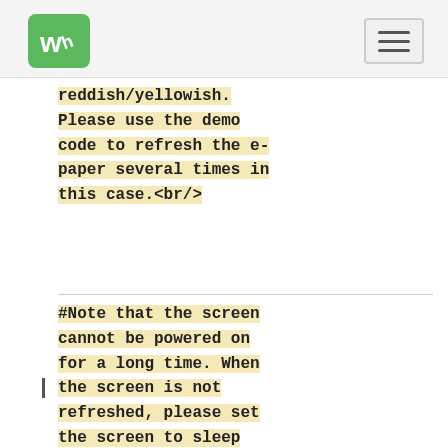WS logo and navigation hamburger menu
reddish/yellowish.
Please use the demo code to refresh the e-paper several times in this case.<br/>
#Note that the screen cannot be powered on for a long time. When the screen is not refreshed, please set the screen to sleep mode, or power off the e-Paper. Otherwise, the screen will remain in a high voltage state for a long time, which will damage the e-Paper and cannot be